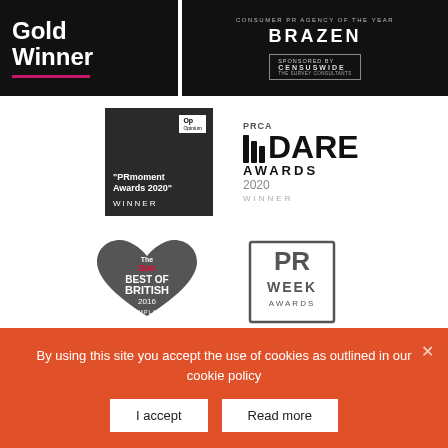[Figure (logo): Gold Winner award badge on black background with pink underline]
[Figure (logo): Consumer PR Agency of the Year - BRAZEN, sponsored by Censuswide, on black background]
[Figure (logo): PRmoment Awards 2020 Winner badge on dark background with Op Opinium logo]
[Figure (logo): PRCA DARE Awards 2020 Winner logo in black and grey]
[Figure (logo): The Sun Best of British 2016 Top Employers badge in grey]
[Figure (logo): PR Week Awards logo in grey]
By using this site you accept the use of cookies as outlined in our cookie policy
I accept
Read more